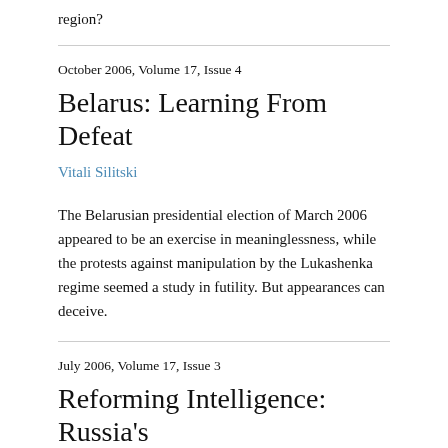region?
October 2006, Volume 17, Issue 4
Belarus: Learning From Defeat
Vitali Silitski
The Belarusian presidential election of March 2006 appeared to be an exercise in meaninglessness, while the protests against manipulation by the Lukashenka regime seemed a study in futility. But appearances can deceive.
July 2006, Volume 17, Issue 3
Reforming Intelligence: Russia's Failure